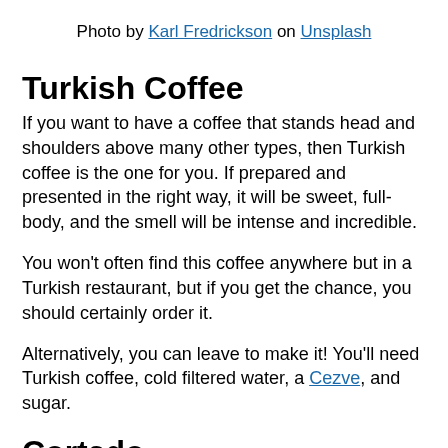Photo by Karl Fredrickson on Unsplash
Turkish Coffee
If you want to have a coffee that stands head and shoulders above many other types, then Turkish coffee is the one for you. If prepared and presented in the right way, it will be sweet, full-body, and the smell will be intense and incredible.
You won't often find this coffee anywhere but in a Turkish restaurant, but if you get the chance, you should certainly order it.
Alternatively, you can leave to make it! You'll need Turkish coffee, cold filtered water, a Cezve, and sugar.
Cortado
A cortado is a very simple drink, and yet also very simple to get wrong too! The Cortado is one of the most commonly sipped coffees in Latin America, Spain, and Portugal.